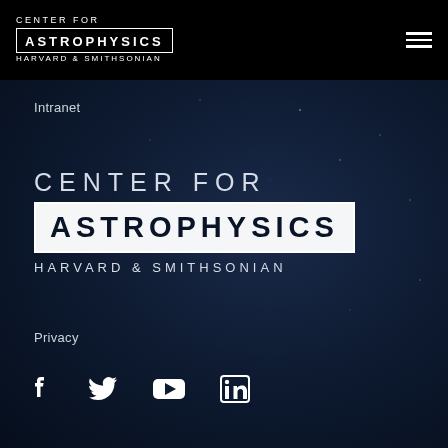CENTER FOR ASTROPHYSICS HARVARD & SMITHSONIAN
Intranet
CENTER FOR ASTROPHYSICS HARVARD & SMITHSONIAN
Privacy
[Figure (infographic): Social media icons: Facebook, Twitter, YouTube, LinkedIn]